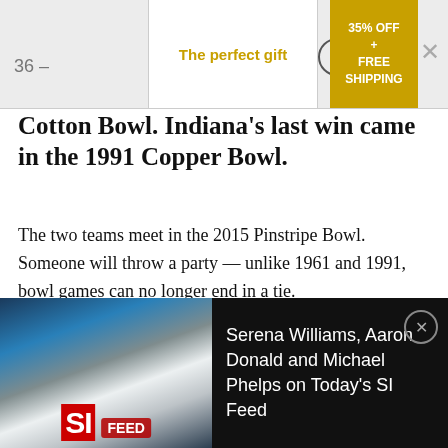36 – The perfect gift  35% OFF + FREE SHIPPING
Cotton Bowl. Indiana's last win came in the 1991 Copper Bowl.
The two teams meet in the 2015 Pinstripe Bowl. Someone will throw a party — unlike 1961 and 1991, bowl games can no longer end in a tie.
35 – Michigan faces Florida in another Citrus Bowl (now the Buffalo Wild Wings Citrus Bowl, formerly Capital One Bowl). The
[Figure (photo): Advertisement banner showing Serena Williams, Aaron Donald and Michael Phelps with SI Feed logo and text 'Serena Williams, Aaron Donald and Michael Phelps on Today's SI Feed']